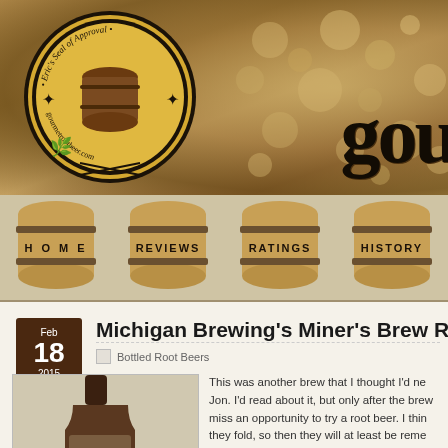[Figure (logo): Eric's Seal of Approval logo with a barrel in the center and text 'gourmetrootbeer.com', partially visible 'gou' blackletter text on right side]
[Figure (infographic): Navigation bar with four barrel icons labeled HOME, REVIEWS, RATINGS, HISTORY]
Michigan Brewing's Miner's Brew R
Bottled Root Beers
[Figure (photo): Close-up photo of a brown glass bottle neck against a neutral background]
This was another brew that I thought I'd ne Jon. I'd read about it, but only after the brew miss an opportunity to try a root beer. I thin they fold, so then they will at least be reme